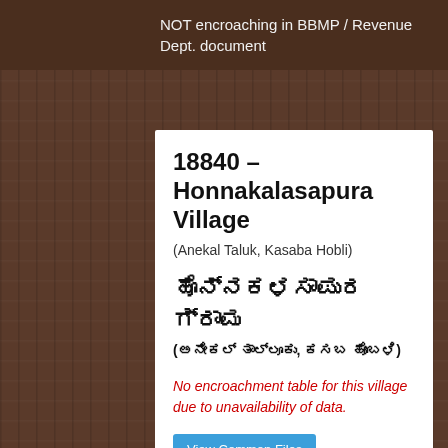NOT encroaching in BBMP / Revenue Dept. document
18840 – Honnakalasapura Village
(Anekal Taluk, Kasaba Hobli)
ಹೊನ್ನಕಳಸಾಪುರ ಗ್ರಾಮ
(ಅನೇಕಲ್ ತಾಲ್ಲೂಕು, ಕಸಬ ಹೋಬಳಿ)
No encroachment table for this village due to unavailability of data.
View Common Files